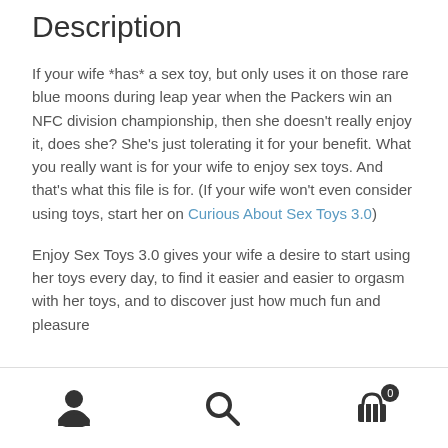Description
If your wife *has* a sex toy, but only uses it on those rare blue moons during leap year when the Packers win an NFC division championship, then she doesn't really enjoy it, does she? She's just tolerating it for your benefit. What you really want is for your wife to enjoy sex toys. And that's what this file is for. (If your wife won't even consider using toys, start her on Curious About Sex Toys 3.0)
Enjoy Sex Toys 3.0 gives your wife a desire to start using her toys every day, to find it easier and easier to orgasm with her toys, and to discover just how much fun and pleasure
User icon | Search icon | Cart icon with badge 0